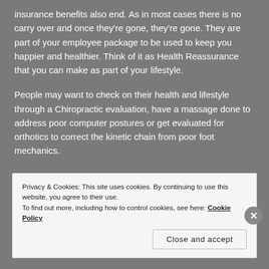insurance benefits also end. As in most cases there is no carry over and once they're gone, they're gone. They are part of your employee package to be used to keep you happier and healthier. Think of it as Health Reassurance that you can make as part of your lifestyle.
People may want to check on their health and lifestyle through a Chiropractic evaluation, have a massage done to address poor computer postures or get evaluated for orthotics to correct the kinetic chain from poor foot mechanics.
Privacy & Cookies: This site uses cookies. By continuing to use this website, you agree to their use.
To find out more, including how to control cookies, see here: Cookie Policy
Close and accept